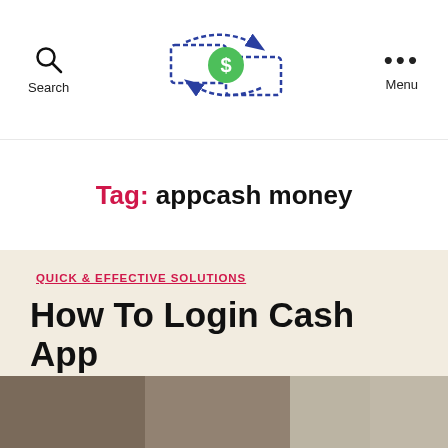Search | [logo] | Menu
Tag: appcash money
QUICK & EFFECTIVE SOLUTIONS
How To Login Cash App
By Auto Cashapps  September 10, 2020
[Figure (photo): Thumbnail image of article about How To Login Cash App]